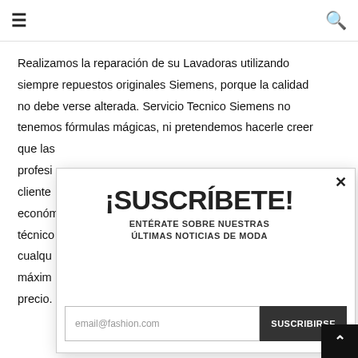≡ (hamburger menu) and 🔍 (search icon)
Realizamos la reparación de su Lavadoras utilizando siempre repuestos originales Siemens, porque la calidad no debe verse alterada. Servicio Tecnico Siemens no tenemos fórmulas mágicas, ni pretendemos hacerle creer que las profesi cliente económ técnico cualqu máxim precio.
[Figure (infographic): Modal popup overlay with '¡SUSCRÍBETE!' heading, subheading 'ENTÉRATE SOBRE NUESTRAS ÚLTIMAS NOTICIAS DE MODA', email input field with placeholder 'email@fashion.com', and dark 'SUSCRIBIRSE' button. Close (×) button in top right corner.]